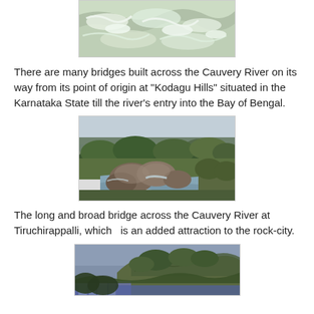[Figure (photo): Aerial view of turbulent white water rapids on the Cauvery River, partially cropped at top of page]
There are many bridges built across the Cauvery River on its way from its point of origin at "Kodagu Hills" situated in the Karnataka State till the river's entry into the Bay of Bengal.
[Figure (photo): Scenic view of a calm section of the Cauvery River with large boulders, green vegetation and trees along the banks, hills visible in background under overcast sky]
The long and broad bridge across the Cauvery River at Tiruchirappalli, which  is an added attraction to the rock-city.
[Figure (photo): Panoramic view of Tiruchirappalli city with a large rocky hill/outcrop covered in vegetation visible above rooftops and trees, partially cropped at bottom of page]